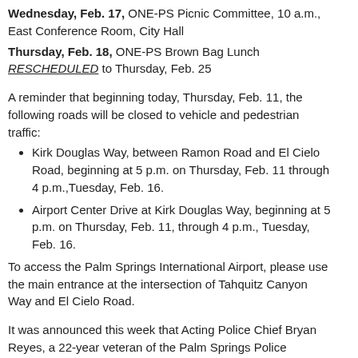Wednesday, Feb. 17, ONE-PS Picnic Committee, 10 a.m., East Conference Room, City Hall
Thursday, Feb. 18, ONE-PS Brown Bag Lunch RESCHEDULED to Thursday, Feb. 25
A reminder that beginning today, Thursday, Feb. 11, the following roads will be closed to vehicle and pedestrian traffic:
Kirk Douglas Way, between Ramon Road and El Cielo Road, beginning at 5 p.m. on Thursday, Feb. 11 through 4 p.m.,Tuesday, Feb. 16.
Airport Center Drive at Kirk Douglas Way, beginning at 5 p.m. on Thursday, Feb. 11, through 4 p.m., Tuesday, Feb. 16.
To access the Palm Springs International Airport, please use the main entrance at the intersection of Tahquitz Canyon Way and El Cielo Road.
It was announced this week that Acting Police Chief Bryan Reyes, a 22-year veteran of the Palm Springs Police Department, is our new Police Chief. Congratulations, Chief Reyes! A news release with more information is attached.